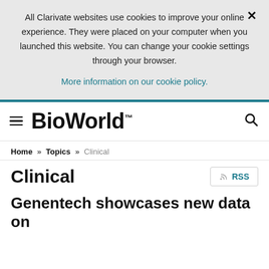All Clarivate websites use cookies to improve your online experience. They were placed on your computer when you launched this website. You can change your cookie settings through your browser.
More information on our cookie policy.
[Figure (logo): BioWorld logo with hamburger menu icon on left and search icon on right]
Home » Topics » Clinical
Clinical
Genentech showcases new data on